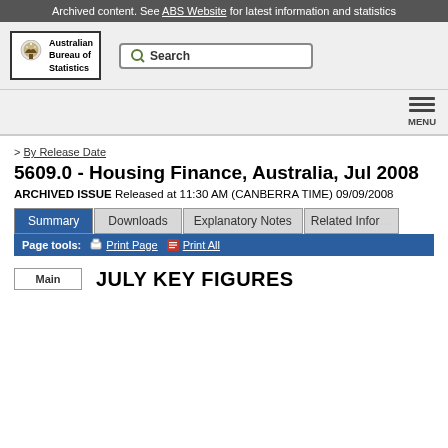Archived content. See ABS Website for latest information and statistics
[Figure (logo): Australian Bureau of Statistics logo with coat of arms crest and text 'Australian Bureau of Statistics' in a bordered box, alongside a Search button]
> By Release Date
5609.0 - Housing Finance, Australia, Jul 2008
ARCHIVED ISSUE Released at 11:30 AM (CANBERRA TIME) 09/09/2008
Summary | Downloads | Explanatory Notes | Related Information
Page tools: Print Page  Print All
JULY KEY FIGURES